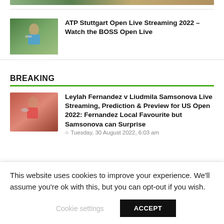[Figure (photo): Partial tennis player photo at top of page]
ATP Stuttgart Open Live Streaming 2022 – Watch the BOSS Open Live
BREAKING
Leylah Fernandez v Liudmila Samsonova Live Streaming, Prediction & Preview for US Open 2022: Fernandez Local Favourite but Samsonova can Surprise
Tuesday, 30 August 2022, 6:03 am
This website uses cookies to improve your experience. We'll assume you're ok with this, but you can opt-out if you wish.
Cookie settings   ACCEPT